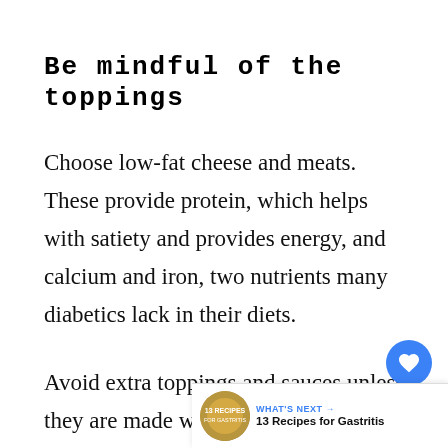Be mindful of the toppings
Choose low-fat cheese and meats. These provide protein, which helps with satiety and provides energy, and calcium and iron, two nutrients many diabetics lack in their diets.
Avoid extra toppings and sauces unless they are made with low-calorie ingredients (for example, tomato sauce has more carbohydrates than